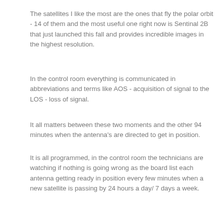The satellites I like the most are the ones that fly the polar orbit - 14 of them and the most useful one right now is Sentinal 2B that just launched this fall and provides incredible images in the highest resolution.
In the control room everything is communicated in abbreviations and terms like AOS - acquisition of signal to the LOS - loss of signal.
It all matters between these two moments and the other 94 minutes when the antenna's  are directed to get in position.
It is all programmed, in the control room the technicians are watching if nothing is going wrong as the board list each antenna getting ready in position every few minutes when a new satellite is passing by 24 hours a day/ 7 days a week.
The most important data is weather data used by everybody in the world who has a subscription to the Kongsberg KSAT services.
And the subscribers are many: NOAA to NASA , ESA to Universities and the Met offices around the world - everybody is